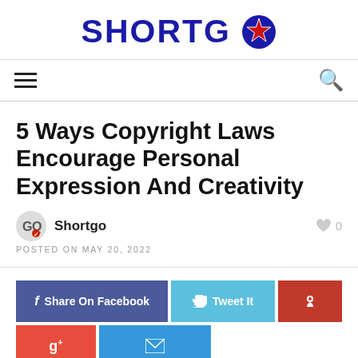SHORTGO
5 Ways Copyright Laws Encourage Personal Expression And Creativity
Shortgo
POSTED ON MAY 20, 2022
Share On Facebook | Tweet It | Pinterest | Google+ | Email